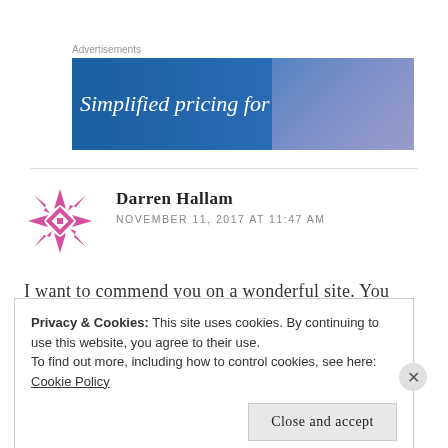Advertisements
[Figure (illustration): Advertisement banner with gradient blue background and text 'Simplified pricing for']
Darren Hallam
NOVEMBER 11, 2017 AT 11:47 AM
I want to commend you on a wonderful site. You
Privacy & Cookies: This site uses cookies. By continuing to use this website, you agree to their use. To find out more, including how to control cookies, see here: Cookie Policy
Close and accept